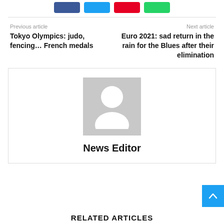[Figure (other): Social share buttons: Facebook (blue), Twitter (cyan), Pinterest (red), WhatsApp (green)]
Previous article
Tokyo Olympics: judo, fencing… French medals
Next article
Euro 2021: sad return in the rain for the Blues after their elimination
[Figure (photo): Generic author avatar placeholder - gray background with white silhouette person icon]
News Editor
RELATED ARTICLES